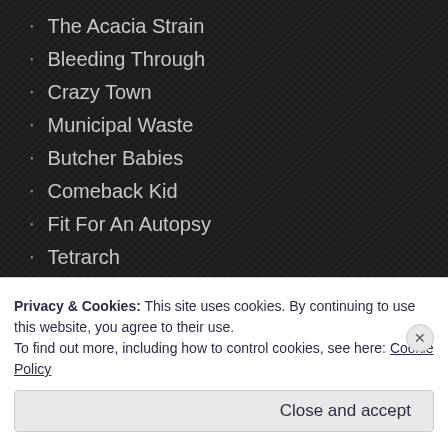The Acacia Strain
Bleeding Through
Crazy Town
Municipal Waste
Butcher Babies
Comeback Kid
Fit For An Autopsy
Tetrarch
Terror
Fire From The Gods
Attack Attack!
Sion
Unearth
Privacy & Cookies: This site uses cookies. By continuing to use this website, you agree to their use. To find out more, including how to control cookies, see here: Cookie Policy
Close and accept